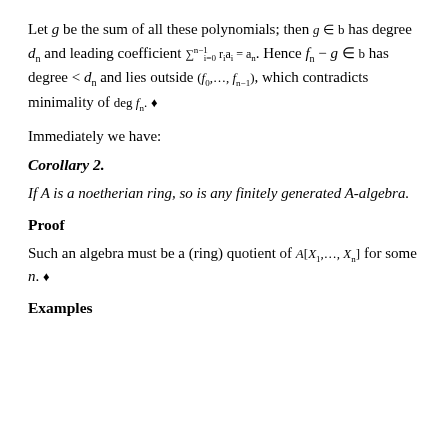Let g be the sum of all these polynomials; then g ∈ b has degree d_n and leading coefficient ∑_{i=0}^{n-1} r_i a_i = a_n. Hence f_n − g ∈ b has degree < d_n and lies outside (f_0, …, f_{n−1}), which contradicts minimality of deg f_n. ♦
Immediately we have:
Corollary 2.
If A is a noetherian ring, so is any finitely generated A-algebra.
Proof
Such an algebra must be a (ring) quotient of A[X_1, …, X_n] for some n. ♦
Examples